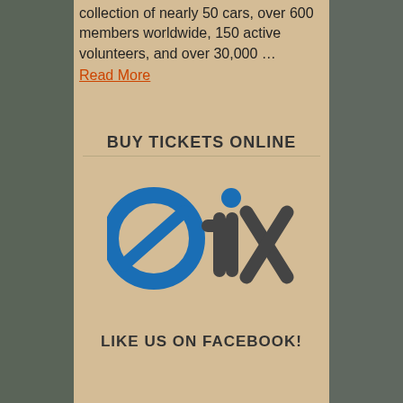collection of nearly 50 cars, over 600 members worldwide, 150 active volunteers, and over 30,000 …
Read More
BUY TICKETS ONLINE
[Figure (logo): etix logo — blue circular 'e' with slash and dark gray 'tix' lettering]
LIKE US ON FACEBOOK!